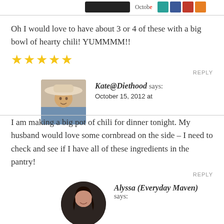[Figure (screenshot): Top strip with black button, partial date 'October...', and social media icons (teal, blue, red, orange)]
Oh I would love to have about 3 or 4 of these with a big bowl of hearty chili! YUMMMM!! ★★★★★
REPLY
Kate@Diethood says: October 15, 2012 at
I am making a big pot of chili for dinner tonight. My husband would love some cornbread on the side – I need to check and see if I have all of these ingredients in the pantry!
REPLY
Alyssa (Everyday Maven) says: